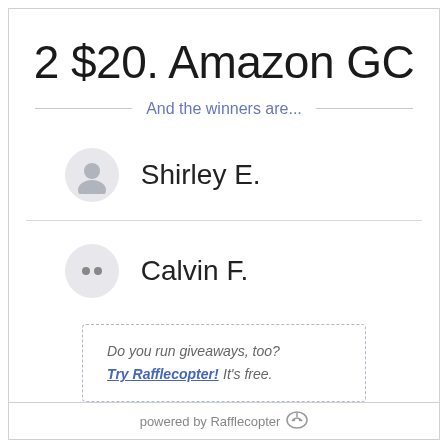2 $20. Amazon GC
And the winners are...
Shirley E.
Calvin F.
Do you run giveaways, too? Try Rafflecopter! It's free.
powered by Rafflecopter